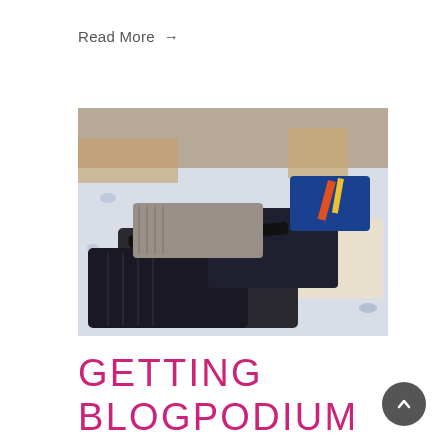Read More →
[Figure (photo): Clothes laid out on a bed with blue floral bedspread: dark knit cardigan, dark trousers, a belt, a grey tweed jacket, dark navy top, a blue bag/folder, and light-colored items on the right side.]
GETTING BLOGPODIUM